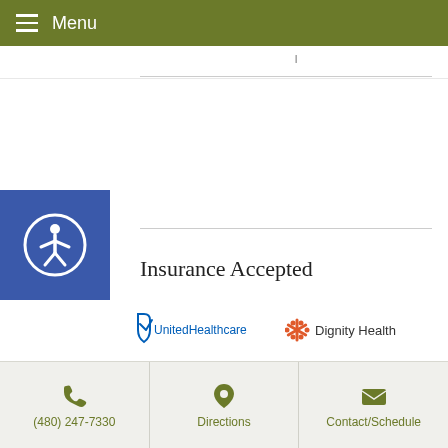Menu
Insurance Accepted
[Figure (logo): UnitedHealthcare logo]
[Figure (logo): Dignity Health logo]
[Figure (logo): Cigna logo]
[Figure (logo): BlueCross BlueShield logo]
[Figure (logo): Banner Health logo]
[Figure (logo): Aetna logo]
(480) 247-7330   Directions   Contact/Schedule